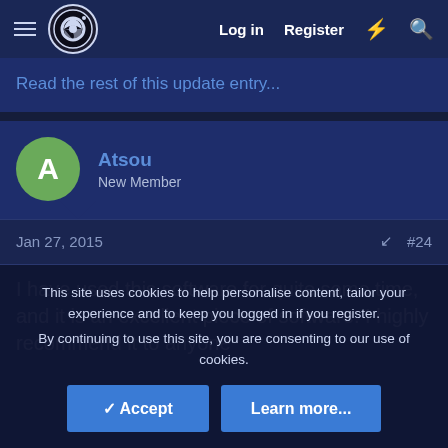Log in  Register
Read the rest of this update entry...
Atsou
New Member
Jan 27, 2015  #24
I have used this software for quite some time, and it is an excellent piece of software. I highly recommend it to anyone
This site uses cookies to help personalise content, tailor your experience and to keep you logged in if you register.
By continuing to use this site, you are consenting to our use of cookies.